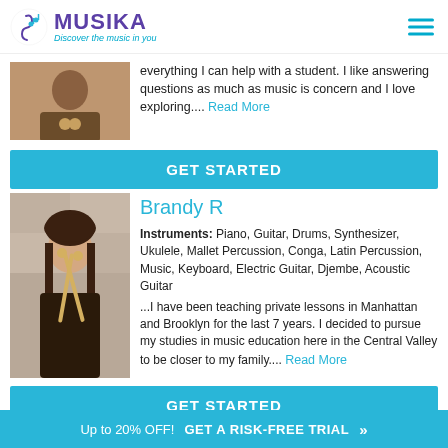MUSIKA - Discover the music in you
everything I can help with a student. I like answering questions as much as music is concern and I love exploring.... Read More
GET STARTED
Brandy R
Instruments: Piano, Guitar, Drums, Synthesizer, Ukulele, Mallet Percussion, Conga, Latin Percussion, Music, Keyboard, Electric Guitar, Djembe, Acoustic Guitar
...I have been teaching private lessons in Manhattan and Brooklyn for the last 7 years. I decided to pursue my studies in music education here in the Central Valley to be closer to my family.... Read More
GET STARTED
Up to 20% OFF!  GET A RISK-FREE TRIAL »